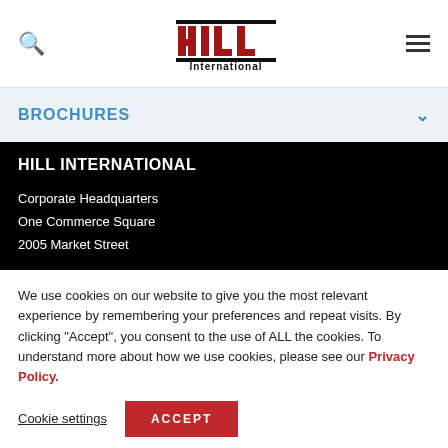[Figure (logo): Hill International logo with red block letters H-I-L-L and 'International' text below]
BROCHURES
HILL INTERNATIONAL
Corporate Headquarters
One Commerce Square
2005 Market Street
We use cookies on our website to give you the most relevant experience by remembering your preferences and repeat visits. By clicking "Accept", you consent to the use of ALL the cookies. To understand more about how we use cookies, please see our Privacy Policy.
Cookie settings  ACCEPT